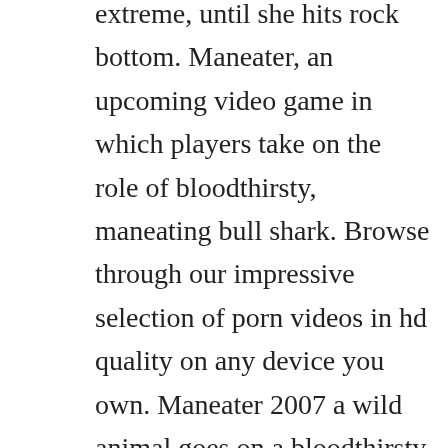extreme, until she hits rock bottom. Maneater, an upcoming video game in which players take on the role of bloodthirsty, maneating bull shark. Browse through our impressive selection of porn videos in hd quality on any device you own. Maneater 2007 a wild animal goes on a bloodthirsty rampage on the appalachian trail. Maneater film series, a series of natural horror films produced by rhi entertainment. No other sex tube is more popular and features more cali logan nylon scenes than pornhub. Afterlife barnfield shows strong acting muscle as kate, one half